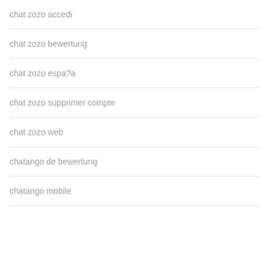chat zozo accedi
chat zozo bewertung
chat zozo espa?a
chat zozo supprimer compte
chat zozo web
chatango de bewertung
chatango mobile